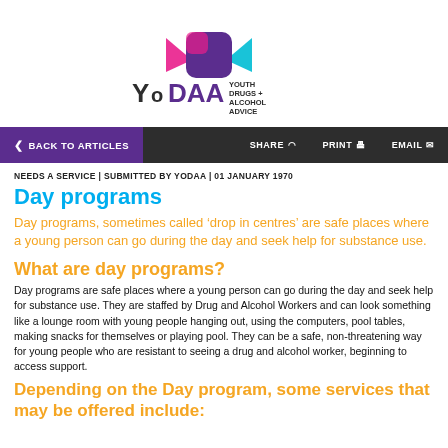[Figure (logo): YoDaa - Youth Drugs + Alcohol Advice logo with colorful abstract bird/square icon above the text]
< BACK TO ARTICLES   SHARE   PRINT   EMAIL
NEEDS A SERVICE | SUBMITTED BY YODAA | 01 JANUARY 1970
Day programs
Day programs, sometimes called 'drop in centres' are safe places where a young person can go during the day and seek help for substance use.
What are day programs?
Day programs are safe places where a young person can go during the day and seek help for substance use. They are staffed by Drug and Alcohol Workers and can look something like a lounge room with young people hanging out, using the computers, pool tables, making snacks for themselves or playing pool. They can be a safe, non-threatening way for young people who are resistant to seeing a drug and alcohol worker, beginning to access support.
Depending on the Day program, some services that may be offered include: